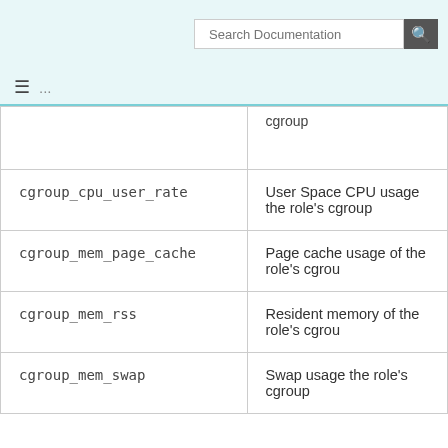Search Documentation
| Metric | Description |
| --- | --- |
|  | cgroup |
| cgroup_cpu_user_rate | User Space CPU usage the role's cgroup |
| cgroup_mem_page_cache | Page cache usage of the role's cgroup |
| cgroup_mem_rss | Resident memory of the role's cgroup |
| cgroup_mem_swap | Swap usage the role's cgroup |